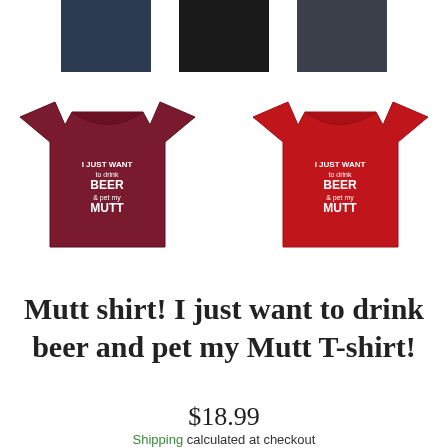[Figure (photo): Three color swatches at top: navy blue, black, and dark gray/charcoal rectangular fabric swatches]
[Figure (photo): Two t-shirts shown: one maroon/burgundy and one red, both with text 'I just want to drink BEER and pet my MUTT' printed on front]
Mutt shirt! I just want to drink beer and pet my Mutt T-shirt!
$18.99
Shipping calculated at checkout